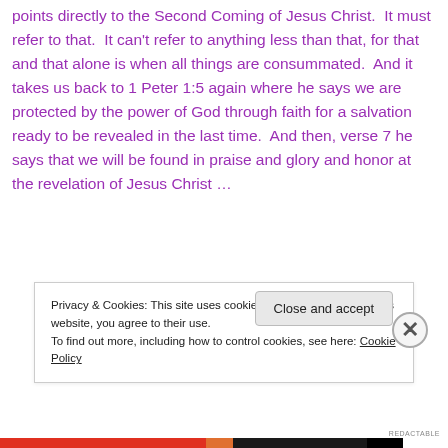points directly to the Second Coming of Jesus Christ.  It must refer to that.  It can't refer to anything less than that, for that and that alone is when all things are consummated.  And it takes us back to 1 Peter 1:5 again where he says we are protected by the power of God through faith for a salvation ready to be revealed in the last time.  And then, verse 7 he says that we will be found in praise and glory and honor at the revelation of Jesus Christ …
Privacy & Cookies: This site uses cookies. By continuing to use this website, you agree to their use.
To find out more, including how to control cookies, see here: Cookie Policy